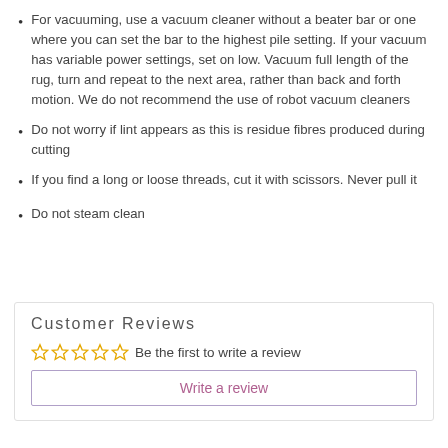For vacuuming, use a vacuum cleaner without a beater bar or one where you can set the bar to the highest pile setting. If your vacuum has variable power settings, set on low. Vacuum full length of the rug, turn and repeat to the next area, rather than back and forth motion. We do not recommend the use of robot vacuum cleaners
Do not worry if lint appears as this is residue fibres produced during cutting
If you find a long or loose threads, cut it with scissors. Never pull it
Do not steam clean
Customer Reviews
Be the first to write a review
Write a review